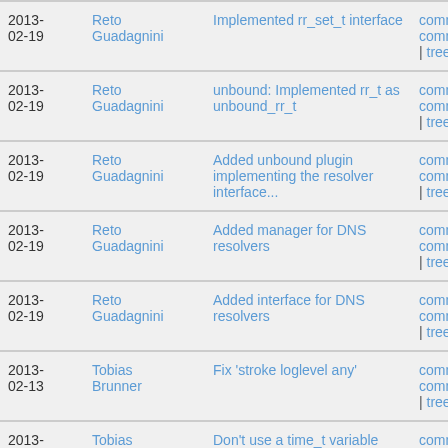| Date | Author | Message | Actions |
| --- | --- | --- | --- |
| 2013-02-19 | Reto Guadagnini | Implemented rr_set_t interface | commit | commitdiff | tree |
| 2013-02-19 | Reto Guadagnini | unbound: Implemented rr_t as unbound_rr_t | commit | commitdiff | tree |
| 2013-02-19 | Reto Guadagnini | Added unbound plugin implementing the resolver interface... | commit | commitdiff | tree |
| 2013-02-19 | Reto Guadagnini | Added manager for DNS resolvers | commit | commitdiff | tree |
| 2013-02-19 | Reto Guadagnini | Added interface for DNS resolvers | commit | commitdiff | tree |
| 2013-02-13 | Tobias Brunner | Fix 'stroke loglevel any' | commit | commitdiff | tree |
| 2013-02-08 | Tobias Brunner | Don't use a time_t variable with fscanf when parsing... | commit | commitdiff | tree |